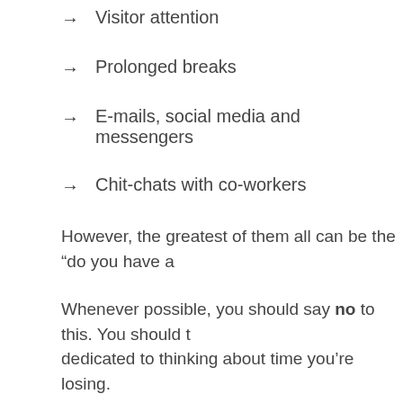Visitor attention
Prolonged breaks
E-mails, social media and messengers
Chit-chats with co-workers
However, the greatest of them all can be the “do you have a
Whenever possible, you should say no to this. You should t dedicated to thinking about time you’re losing.
3. You should find out why you’re wasting time.
Effective time management tips would include finding out w that you can take action against it. You should prepare a re